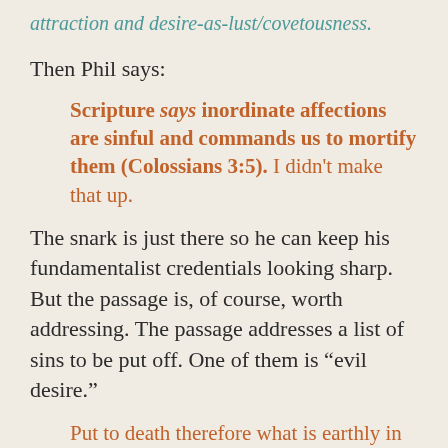attraction and desire-as-lust/covetousness.
Then Phil says:
Scripture says inordinate affections are sinful and commands us to mortify them (Colossians 3:5). I didn't make that up.
The snark is just there so he can keep his fundamentalist credentials looking sharp. But the passage is, of course, worth addressing. The passage addresses a list of sins to be put off. One of them is “evil desire.”
Put to death therefore what is earthly in you: sexual immorality, impurity, passion, evil desire, and covetousness, which is idolatry.